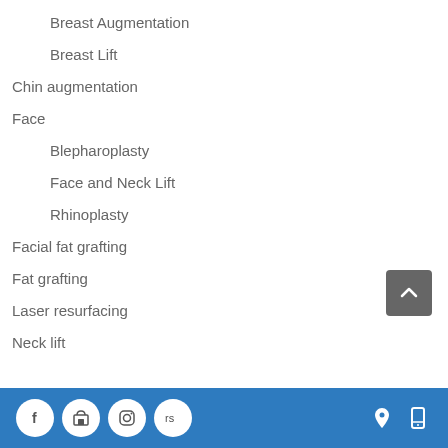Breast Augmentation
Breast Lift
Chin augmentation
Face
Blepharoplasty
Face and Neck Lift
Rhinoplasty
Facial fat grafting
Fat grafting
Laser resurfacing
Neck lift
Social media icons and navigation icons